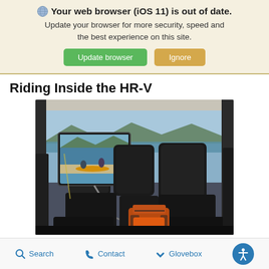🌐 Your web browser (iOS 11) is out of date. Update your browser for more security, speed and the best experience on this site.
Update browser | Ignore
Riding Inside the HR-V
[Figure (photo): Interior rear seat view of a Honda HR-V. A tablet mounted to headrest shows a family kayaking scene. A backpack sits on the middle seat. Mountains and water visible through rear window.]
Search   Contact   Glovebox   (accessibility icon)